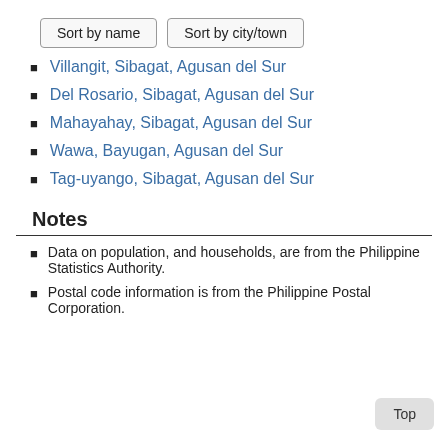Sort by name | Sort by city/town
Villangit, Sibagat, Agusan del Sur
Del Rosario, Sibagat, Agusan del Sur
Mahayahay, Sibagat, Agusan del Sur
Wawa, Bayugan, Agusan del Sur
Tag-uyango, Sibagat, Agusan del Sur
Notes
Data on population, and households, are from the Philippine Statistics Authority.
Postal code information is from the Philippine Postal Corporation.